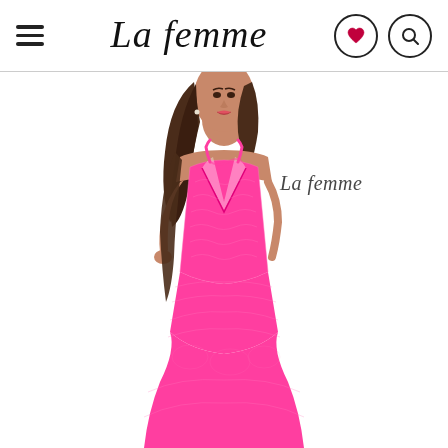La Femme navigation header with hamburger menu, logo, heart icon, and search icon
[Figure (photo): A woman wearing a bright neon pink lace mermaid-style prom gown with spaghetti straps and a deep V-neckline, standing against a white background. The La Femme script logo watermark appears in the upper right of the product photo.]